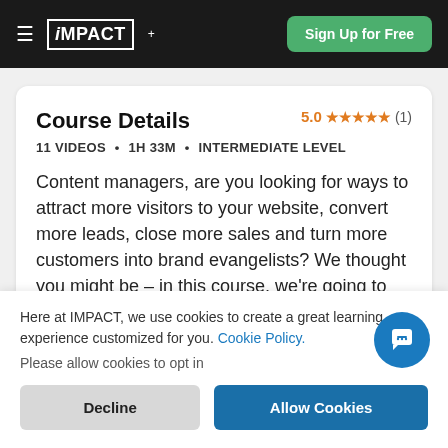iMPACT+ | Sign Up for Free
Course Details
5.0 ★★★★★ (1)
11 VIDEOS • 1H 33M • INTERMEDIATE LEVEL
Content managers, are you looking for ways to attract more visitors to your website, convert more leads, close more sales and turn more customers into brand evangelists? We thought you might be – in this course, we're going to talk about four different types
Here at IMPACT, we use cookies to create a great learning experience customized for you. Cookie Policy.
Please allow cookies to opt in
Decline
Allow Cookies